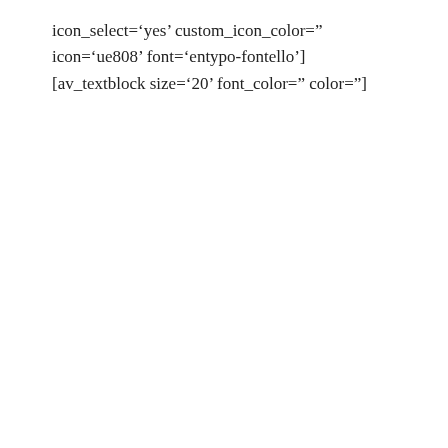icon_select='yes' custom_icon_color=" icon='ue808' font='entypo-fontello'] [av_textblock size='20' font_color=" color="]